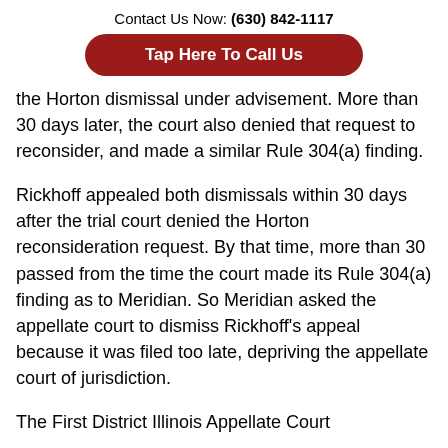Contact Us Now: (630) 842-1117
Tap Here To Call Us
the Horton dismissal under advisement. More than 30 days later, the court also denied that request to reconsider, and made a similar Rule 304(a) finding.
Rickhoff appealed both dismissals within 30 days after the trial court denied the Horton reconsideration request. By that time, more than 30 passed from the time the court made its Rule 304(a) finding as to Meridian. So Meridian asked the appellate court to dismiss Rickhoff's appeal because it was filed too late, depriving the appellate court of jurisdiction.
The First District Illinois Appellate Court